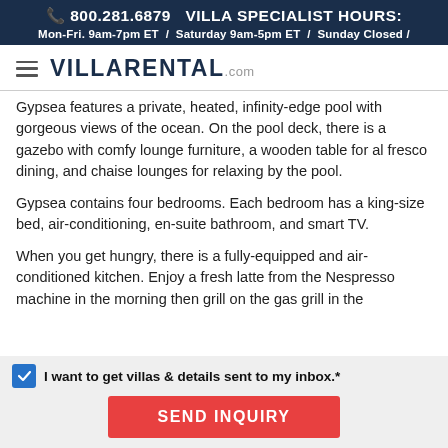📞 800.281.6879  VILLA SPECIALIST HOURS: Mon-Fri. 9am-7pm ET / Saturday 9am-5pm ET / Sunday Closed /
[Figure (logo): VillaRental.com logo with hamburger menu icon]
Gypsea features a private, heated, infinity-edge pool with gorgeous views of the ocean. On the pool deck, there is a gazebo with comfy lounge furniture, a wooden table for al fresco dining, and chaise lounges for relaxing by the pool.
Gypsea contains four bedrooms. Each bedroom has a king-size bed, air-conditioning, en-suite bathroom, and smart TV.
When you get hungry, there is a fully-equipped and air-conditioned kitchen. Enjoy a fresh latte from the Nespresso machine in the morning then grill on the gas grill in the
I want to get villas & details sent to my inbox.*
SEND INQUIRY